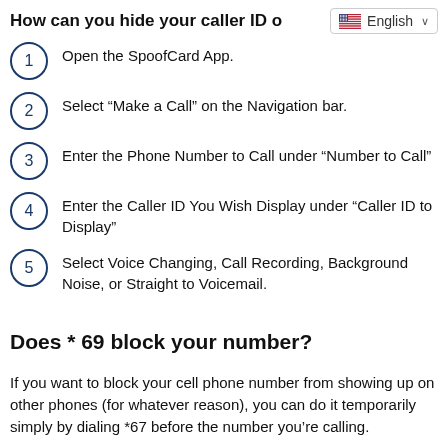How can you hide your caller ID o
1 Open the SpoofCard App.
2 Select “Make a Call” on the Navigation bar.
3 Enter the Phone Number to Call under “Number to Call”
4 Enter the Caller ID You Wish Display under “Caller ID to Display”
5 Select Voice Changing, Call Recording, Background Noise, or Straight to Voicemail.
Does * 69 block your number?
If you want to block your cell phone number from showing up on other phones (for whatever reason), you can do it temporarily simply by dialing *67 before the number you’re calling.